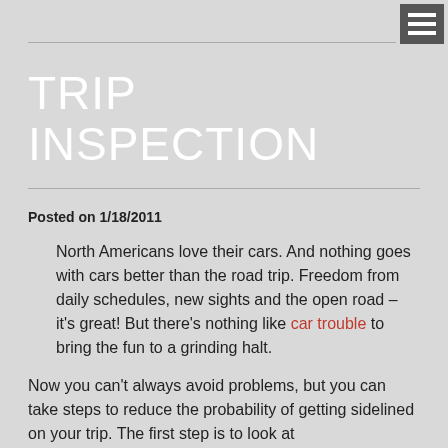TRIP INSPECTION
TRIP INSPECTION
Posted on 1/18/2011
North Americans love their cars. And nothing goes with cars better than the road trip. Freedom from daily schedules, new sights and the open road – it's great! But there's nothing like car trouble to bring the fun to a grinding halt.
Now you can't always avoid problems, but you can take steps to reduce the probability of getting sidelined on your trip. The first step is to look at